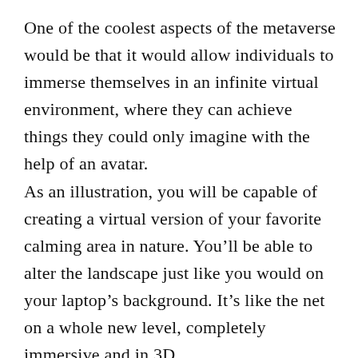One of the coolest aspects of the metaverse would be that it would allow individuals to immerse themselves in an infinite virtual environment, where they can achieve things they could only imagine with the help of an avatar.
As an illustration, you will be capable of creating a virtual version of your favorite calming area in nature. You’ll be able to alter the landscape just like you would on your laptop’s background. It’s like the net on a whole new level, completely immersive and in 3D.